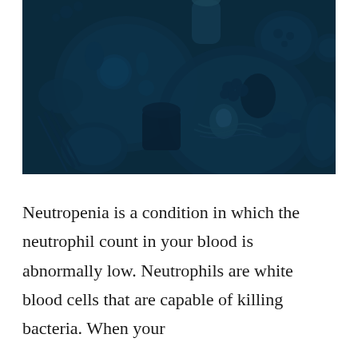[Figure (photo): Overhead view of various bowls and plates filled with foods, vegetables, and ingredients on a dark surface, all tinted with a deep blue overlay.]
Neutropenia is a condition in which the neutrophil count in your blood is abnormally low. Neutrophils are white blood cells that are capable of killing bacteria. When your